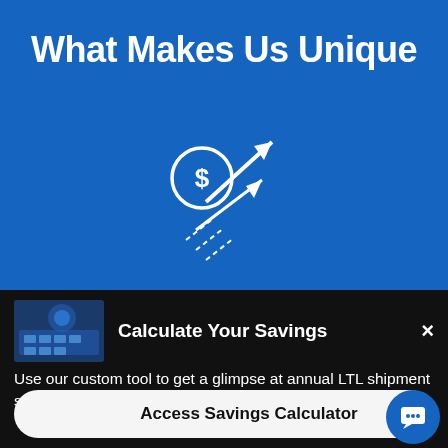What Makes Us Unique
[Figure (illustration): White line icon of a coin with dollar sign and upward arrows on blue background]
[Figure (screenshot): Thumbnail image of hands on keyboard with blue overlay]
Calculate Your Savings
Use our custom tool to get a glimpse at annual LTL shipment savings through our LIVE Connect platform!
Access Savings Calculator